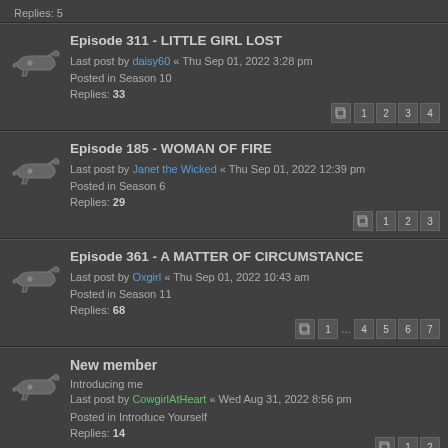Replies: 5
Episode 311 - LITTLE GIRL LOST | Last post by daisy60 « Thu Sep 01, 2022 3:28 pm | Posted in Season 10 | Replies: 33
Episode 185 - WOMAN OF FIRE | Last post by Janet the Wicked « Thu Sep 01, 2022 12:39 pm | Posted in Season 6 | Replies: 29
Episode 361 - A MATTER OF CIRCUMSTANCE | Last post by Oxgirl « Thu Sep 01, 2022 10:43 am | Posted in Season 11 | Replies: 68
New member | Introducing me | Last post by CowgirlAtHeart « Wed Aug 31, 2022 8:56 pm | Posted in Introduce Yourself | Replies: 14